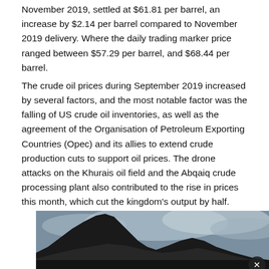November 2019, settled at $61.81 per barrel, an increase by $2.14 per barrel compared to November 2019 delivery. Where the daily trading marker price ranged between $57.29 per barrel, and $68.44 per barrel.
The crude oil prices during September 2019 increased by several factors, and the most notable factor was the falling of US crude oil inventories, as well as the agreement of the Organisation of Petroleum Exporting Countries (Opec) and its allies to extend crude production cuts to support oil prices. The drone attacks on the Khurais oil field and the Abqaiq crude processing plant also contributed to the rise in prices this month, which cut the kingdom's output by half.
[Figure (photo): Photograph of a dark mountainous landscape with cloudy sky, partially visible at the bottom of the page.]